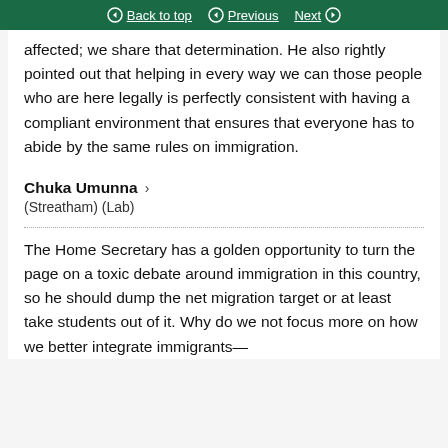Back to top | Previous | Next
affected; we share that determination. He also rightly pointed out that helping in every way we can those people who are here legally is perfectly consistent with having a compliant environment that ensures that everyone has to abide by the same rules on immigration.
Chuka Umunna
(Streatham) (Lab)
The Home Secretary has a golden opportunity to turn the page on a toxic debate around immigration in this country, so he should dump the net migration target or at least take students out of it. Why do we not focus more on how we better integrate immigrants—